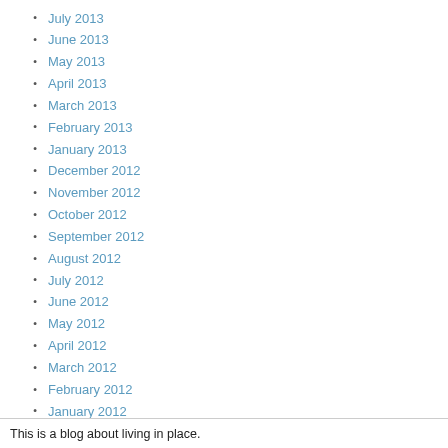July 2013
June 2013
May 2013
April 2013
March 2013
February 2013
January 2013
December 2012
November 2012
October 2012
September 2012
August 2012
July 2012
June 2012
May 2012
April 2012
March 2012
February 2012
January 2012
December 2011
November 2011
October 2011
September 2011
This is a blog about living in place.